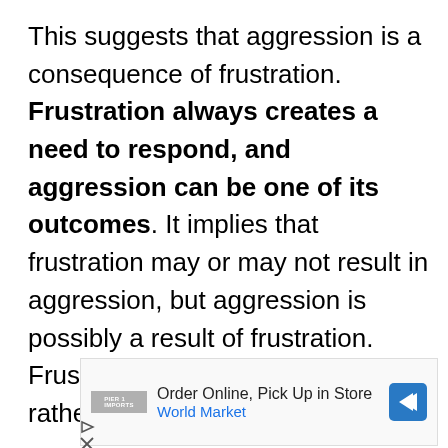This suggests that aggression is a consequence of frustration. Frustration always creates a need to respond, and aggression can be one of its outcomes. It implies that frustration may or may not result in aggression, but aggression is possibly a result of frustration. Frustration is not sufficient but rather a necessary condition for
[Figure (other): Advertisement banner: Order Online, Pick Up in Store - World Market, with a blue road sign arrow icon and a small logo.]